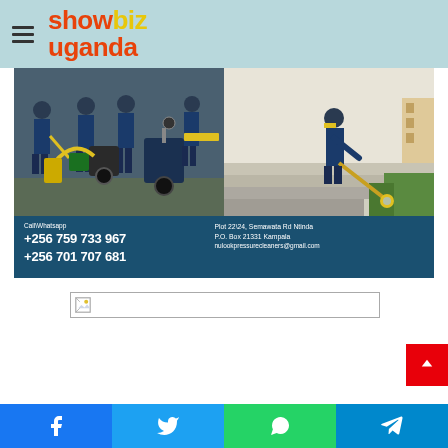showbiz uganda
[Figure (photo): Advertisement for Nulook Pressure Cleaners showing workers with pressure cleaning equipment on the left, and a worker cleaning steps/patio on the right. Contact information: Call/Whatsapp +256 759 733 967, +256 701 707 681, Plot 22\24 Semawata Rd Ntinda, P.O. Box 21331 Kampala, nulookpressurecleaners@gmail.com]
[Figure (photo): Broken/missing image placeholder]
[Figure (infographic): Social share buttons: Facebook, Twitter, WhatsApp, Telegram]